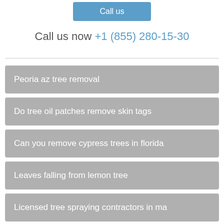Call us
Call us now +1 (855) 280-15-30
Peoria az tree removal
Do tree oil patches remove skin tags
Can you remove cypress trees in florida
Leaves falling from lemon tree
Licensed tree spraying contractors in ma